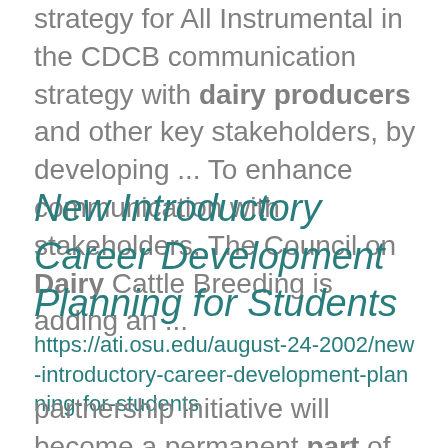strategy for All Instrumental in the CDCB communication strategy with dairy producers and other key stakeholders, by developing ... To enhance communication with stakeholders, The Council on Dairy Cattle Breeding is adding an ...
New Introductory Career Development Planning for Students
https://ati.osu.edu/august-24-2002/new-introductory-career-development-planning-for-students
partnership initiative will become a permanent part of orientation in Wooster. Led by Wooster campus staff... Three